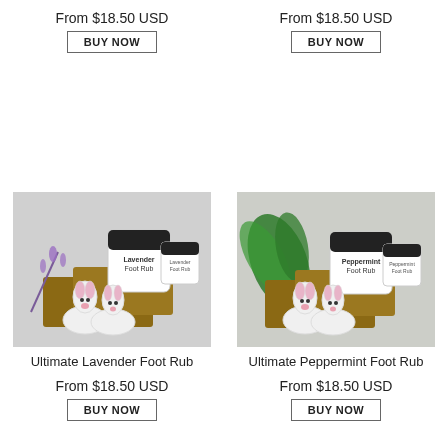From $18.50 USD
From $18.50 USD
BUY NOW
BUY NOW
[Figure (photo): Ultimate Lavender Foot Rub product photo showing Lavender Foot Rub jars, wrapped soap bars, lavender sprigs, and bunny slippers]
[Figure (photo): Ultimate Peppermint Foot Rub product photo showing Peppermint Foot Rub jars, wrapped soap bars, mint leaves, and bunny slippers]
Ultimate Lavender Foot Rub
Ultimate Peppermint Foot Rub
From $18.50 USD
From $18.50 USD
BUY NOW
BUY NOW